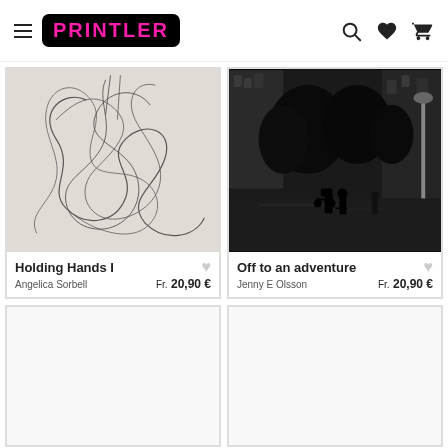Printler
[Figure (illustration): Abstract line art on beige/grey background - swirling continuous lines forming organic shapes, product card image for 'Holding Hands I']
Holding Hands I
Angelica Sorbell	Fr. 20,90 €
[Figure (photo): Black and white photograph of a rainy European alley/street, with trees and silhouettes of people with strollers/prams, product card image for 'Off to an adventure']
Off to an adventure
Jenny E Olsson	Fr. 20,90 €
[Figure (photo): White/blank loading product card image (bottom left)]
[Figure (photo): White/blank loading product card image (bottom right)]